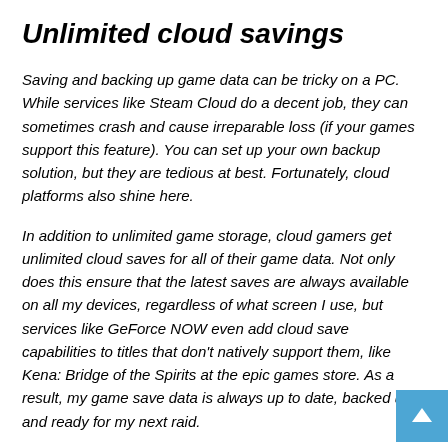Unlimited cloud savings
Saving and backing up game data can be tricky on a PC. While services like Steam Cloud do a decent job, they can sometimes crash and cause irreparable loss (if your games support this feature). You can set up your own backup solution, but they are tedious at best. Fortunately, cloud platforms also shine here.
In addition to unlimited game storage, cloud gamers get unlimited cloud saves for all of their game data. Not only does this ensure that the latest saves are always available on all my devices, regardless of what screen I use, but services like GeForce NOW even add cloud save capabilities to titles that don't natively support them, like Kena: Bridge of the Spirits at the epic games store. As a result, my game save data is always up to date, backed up, and ready for my next raid.